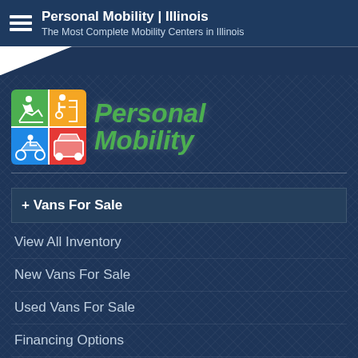Personal Mobility | Illinois — The Most Complete Mobility Centers in Illinois
[Figure (logo): Personal Mobility logo with four colored quadrants (green top-left with stair lift icon, yellow top-right with wheelchair lift icon, blue bottom-left with scooter icon, red bottom-right with vehicle icon) and green italic text reading Personal Mobility]
+ Vans For Sale
View All Inventory
New Vans For Sale
Used Vans For Sale
Financing Options
Sell Your Van